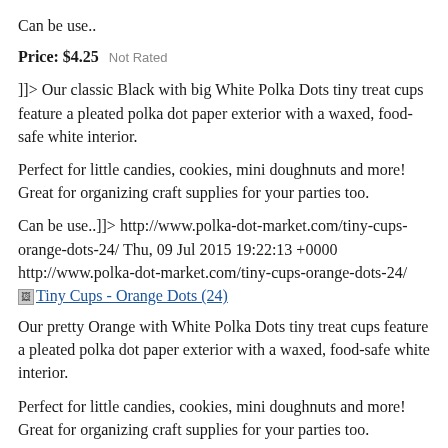Can be use..
Price: $4.25   Not Rated
]]> Our classic Black with big White Polka Dots tiny treat cups feature a pleated polka dot paper exterior with a waxed, food-safe white interior.
Perfect for little candies, cookies, mini doughnuts and more!  Great for organizing craft supplies for your parties too.
Can be use..]]> http://www.polka-dot-market.com/tiny-cups-orange-dots-24/ Thu, 09 Jul 2015 19:22:13 +0000 http://www.polka-dot-market.com/tiny-cups-orange-dots-24/
Tiny Cups - Orange Dots (24)
Our pretty Orange with White Polka Dots tiny treat cups feature a pleated polka dot paper exterior with a waxed, food-safe white interior.
Perfect for little candies, cookies, mini doughnuts and more!  Great for organizing craft supplies for your parties too.
Can be used to..